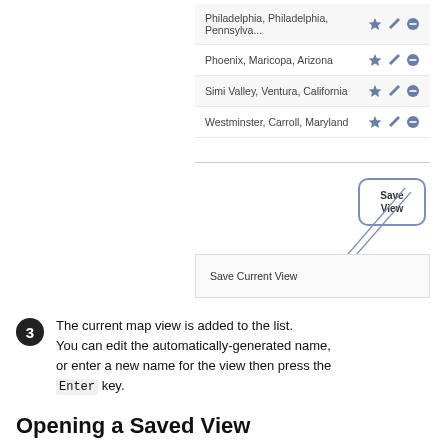[Figure (screenshot): A UI list showing saved map view locations (Philadelphia, Phoenix, Simi Valley, Westminster) each with star, edit, and remove icons. A 'Save View' callout bubble with arrows pointing to a 'Save Current View' button at the bottom of the list.]
The current map view is added to the list. You can edit the automatically-generated name, or enter a new name for the view then press the Enter key.
Opening a Saved View